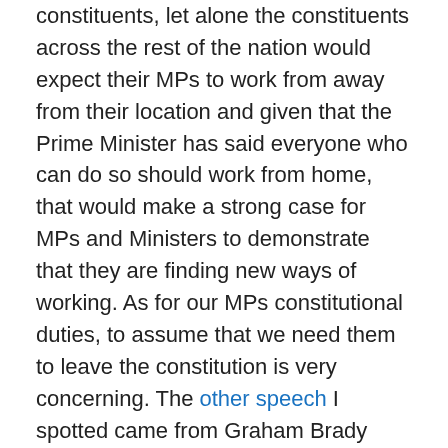constituents, let alone the constituents across the rest of the nation would expect their MPs to work from away from their location and given that the Prime Minister has said everyone who can do so should work from home, that would make a strong case for MPs and Ministers to demonstrate that they are finding new ways of working. As for our MPs constitutional duties, to assume that we need them to leave the constitution is very concerning. The other speech I spotted came from Graham Brady who is the Chair of the 1922 Committee which is the dominant Tory backbench group. I have only reproduced part of it:
The virtual proceedings have served a purpose during the most acute stage of the crisis, but as the nation gradually returns towards normal life, as the Leader of the House rightly said, it is important that this place moves back towards normality at least at the same pace. The